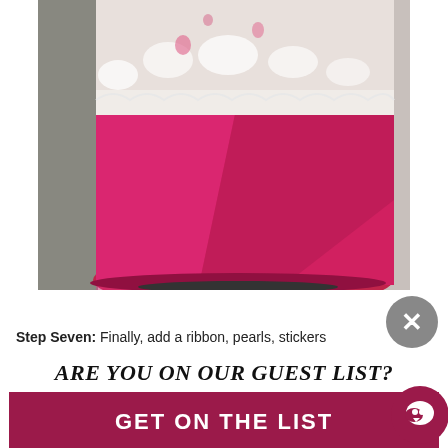[Figure (photo): Close-up photograph of a jar wrapped with a wide pink/magenta ribbon and white lace fabric on top, set against a light background]
Step Seven: Finally, add a ribbon, pearls, stickers
ARE YOU ON OUR GUEST LIST?
GET ON THE LIST